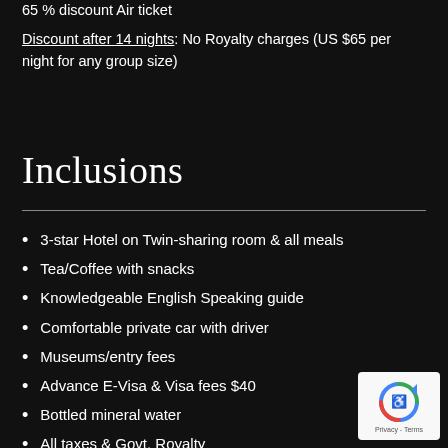65 % discount Air ticket
Discount after 14 nights: No Royalty charges (US $65 per night for any group size)
Inclusions
3-star Hotel on Twin-sharing room & all meals
Tea/Coffee with snacks
Knowledgeable English Speaking guide
Comfortable private car with driver
Museums/entry fees
Advance E-Visa & Visa fees $40
Bottled mineral water
All taxes & Govt. Royalty